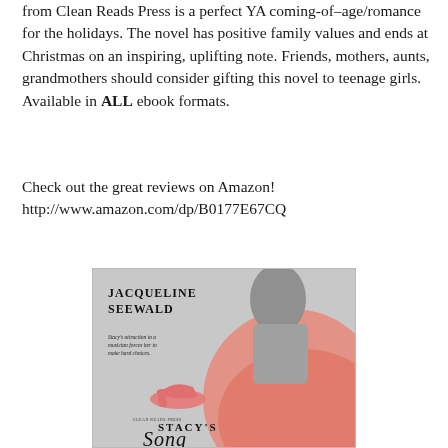from Clean Reads Press is a perfect YA coming-of–age/romance for the holidays. The novel has positive family values and ends at Christmas on an inspiring, uplifting note. Friends, mothers, aunts, grandmothers should consider gifting this novel to teenage girls. Available in ALL ebook formats.
Check out the great reviews on Amazon!
http://www.amazon.com/dp/B0177E67CQ
[Figure (illustration): Book cover for 'Stacy's Song' by Jacqueline Seewald, published by Clean Reads Press. Shows a young woman in a pink dress seated, with pink high heels nearby. Black and white photo with pink color accents. Tagline reads: Stacy's attraction to a musician forces her to make hard choices.]